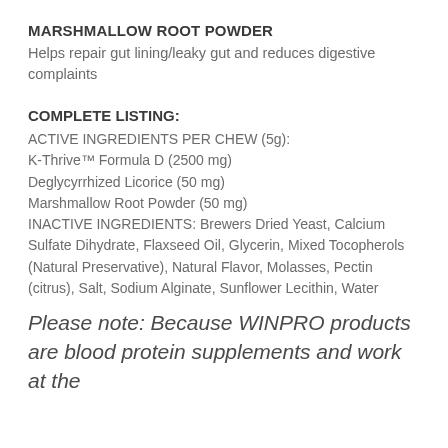MARSHMALLOW ROOT POWDER
Helps repair gut lining/leaky gut and reduces digestive complaints
COMPLETE LISTING:
ACTIVE INGREDIENTS PER CHEW (5g): K-Thrive™ Formula D (2500 mg) Deglycyrrhized Licorice (50 mg) Marshmallow Root Powder (50 mg) INACTIVE INGREDIENTS: Brewers Dried Yeast, Calcium Sulfate Dihydrate, Flaxseed Oil, Glycerin, Mixed Tocopherols (Natural Preservative), Natural Flavor, Molasses, Pectin (citrus), Salt, Sodium Alginate, Sunflower Lecithin, Water
Please note: Because WINPRO products are blood protein supplements and work at the